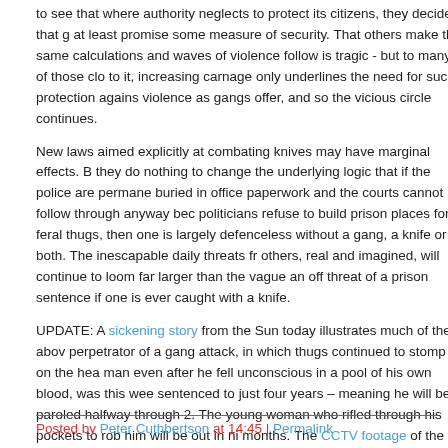to see that where authority neglects to protect its citizens, they decide that g at least promise some measure of security. That others make the same calculations and waves of violence follow is tragic - but to many of those clo to it, increasing carnage only underlines the need for such protection agains violence as gangs offer, and so the vicious circle continues.
New laws aimed explicitly at combating knives may have marginal effects. B they do nothing to change the underlying logic that if the police are permane buried in office paperwork and the courts cannot follow through anyway bec politicians refuse to build prison places for feral thugs, then one is largely defenceless without a gang, a knife or both. The inescapable daily threats fr others, real and imagined, will continue to loom far larger than the vague an off threat of a prison sentence if one is ever caught with a knife.
UPDATE: A sickening story from the Sun today illustrates much of the abov perpetrator of a gang attack, in which thugs continued to stomp on the hea man even after he fell unconscious in a pool of his own blood, was this wee sentenced to just four years – meaning he will be paroled halfway through 2. The young woman who rifled through his pockets to rob him will be out in ni months. The CCTV footage of the attack is on the Sun's web site, though it for the feint-hearted.
Posted by Peter Cuthbertson at 14:45 | Permalink